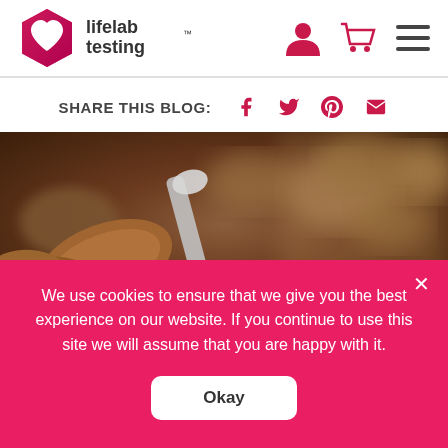[Figure (logo): Lifelab Testing logo with hexagon heart icon and text 'lifelab testing']
[Figure (infographic): Share this blog bar with Facebook, Twitter, Pinterest, and email icons]
[Figure (photo): Close-up photo of almonds with a spoon, blurred background]
We use cookies to ensure that we give you the best experience on our website. If you continue to use this site we will assume that you are happy with it.
Okay